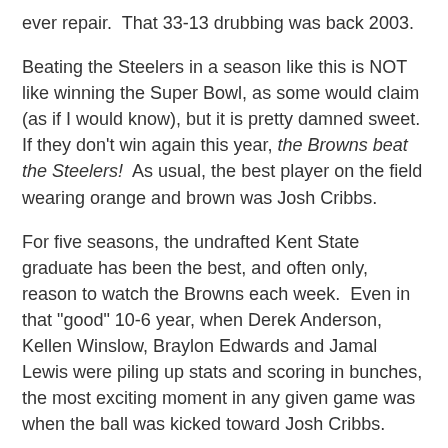ever repair.  That 33-13 drubbing was back 2003.
Beating the Steelers in a season like this is NOT like winning the Super Bowl, as some would claim (as if I would know), but it is pretty damned sweet. If they don't win again this year, the Browns beat the Steelers!  As usual, the best player on the field wearing orange and brown was Josh Cribbs.
For five seasons, the undrafted Kent State graduate has been the best, and often only, reason to watch the Browns each week.  Even in that "good" 10-6 year, when Derek Anderson, Kellen Winslow, Braylon Edwards and Jamal Lewis were piling up stats and scoring in bunches, the most exciting moment in any given game was when the ball was kicked toward Josh Cribbs.
The same holds true today, and if you flip things around a bit, Cribbs has also been the best special teams tackler, hawking the opponent's return man as if he can't bear to be outdone.  He plays all out at all times.  He plays hurt.  He is as tough as any Brown I've ever seen and certainly the greatest Brown of the modern era.  He's never been much of a